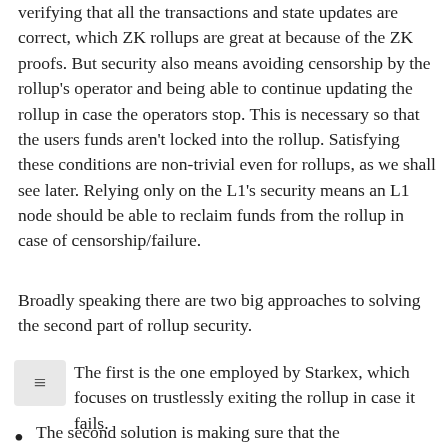verifying that all the transactions and state updates are correct, which ZK rollups are great at because of the ZK proofs. But security also means avoiding censorship by the rollup's operator and being able to continue updating the rollup in case the operators stop. This is necessary so that the users funds aren't locked into the rollup. Satisfying these conditions are non-trivial even for rollups, as we shall see later. Relying only on the L1's security means an L1 node should be able to reclaim funds from the rollup in case of censorship/failure.
Broadly speaking there are two big approaches to solving the second part of rollup security.
The first is the one employed by Starkex, which focuses on trustlessly exiting the rollup in case it fails.
The second solution is making sure that the